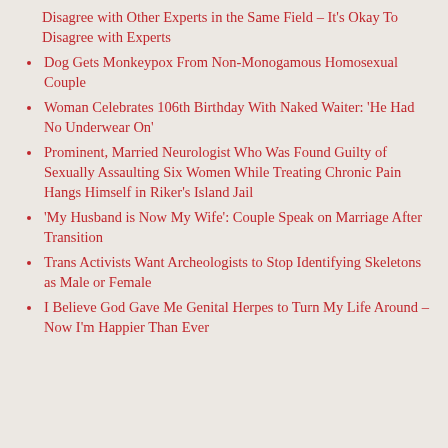Disagree with Other Experts in the Same Field – It's Okay To Disagree with Experts
Dog Gets Monkeypox From Non-Monogamous Homosexual Couple
Woman Celebrates 106th Birthday With Naked Waiter: 'He Had No Underwear On'
Prominent, Married Neurologist Who Was Found Guilty of Sexually Assaulting Six Women While Treating Chronic Pain Hangs Himself in Riker's Island Jail
'My Husband is Now My Wife': Couple Speak on Marriage After Transition
Trans Activists Want Archeologists to Stop Identifying Skeletons as Male or Female
I Believe God Gave Me Genital Herpes to Turn My Life Around – Now I'm Happier Than Ever